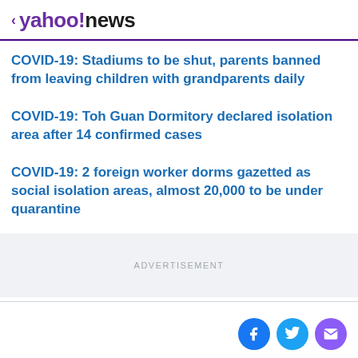< yahoo!news
COVID-19: Stadiums to be shut, parents banned from leaving children with grandparents daily
COVID-19: Toh Guan Dormitory declared isolation area after 14 confirmed cases
COVID-19: 2 foreign worker dorms gazetted as social isolation areas, almost 20,000 to be under quarantine
Filthy, cramped dorms come to light as virus afflicts Singapore's migrant workers
ADVERTISEMENT